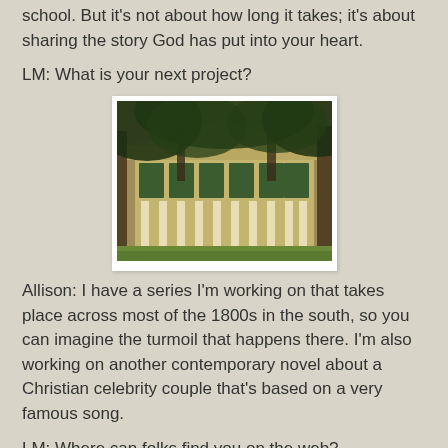school. But it's not about how long it takes; it's about sharing the story God has put into your heart.
LM: What is your next project?
[Figure (photo): Photograph of a large Southern plantation-style house with tall white columns, surrounded by large trees with overhanging branches, green lawn in foreground.]
Allison: I have a series I'm working on that takes place across most of the 1800s in the south, so you can imagine the turmoil that happens there. I'm also working on another contemporary novel about a Christian celebrity couple that's based on a very famous song.
LM: Where can folks find you on the web?
Allison: http://www.allisonwellswrites.com is my website and you can connect with all my socials and find links to my books from there!